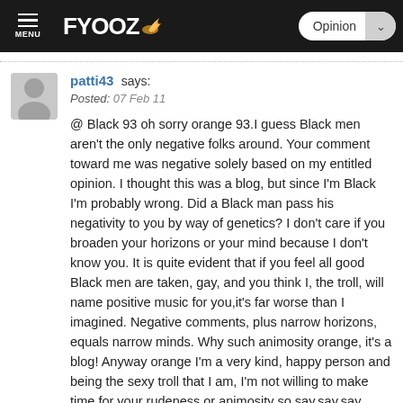FYOOZ — Opinion
patti43 says: Posted: 07 Feb 11 @ Black 93 oh sorry orange 93.I guess Black men aren't the only negative folks around. Your comment toward me was negative solely based on my entitled opinion. I thought this was a blog, but since I'm Black I'm probably wrong. Did a Black man pass his negativity to you by way of genetics? I don't care if you broaden your horizons or your mind because I don't know you. It is quite evident that if you feel all good Black men are taken, gay, and you think I, the troll, will name positive music for you,it's far worse than I imagined. Negative comments, plus narrow horizons, equals narrow minds. Why such animosity orange, it's a blog! Anyway orange I'm a very kind, happy person and being the sexy troll that I am, I'm not willing to make time for your rudeness or animosity so say,say,say what you want. Who sings those words in a duet? Lol